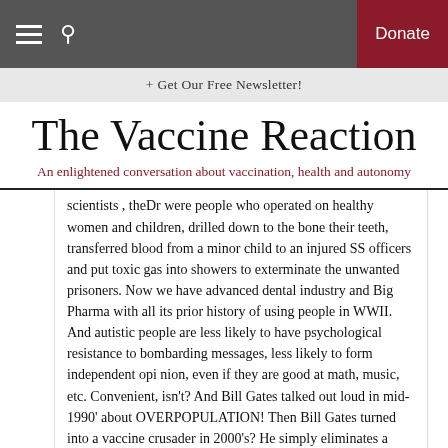☰  🔍  Donate
+ Get Our Free Newsletter!
The Vaccine Reaction
An enlightened conversation about vaccination, health and autonomy
scientists , theDr were people who operated on healthy women and children, drilled down to the bone their teeth, transferred blood from a minor child to an injured SS officers and put toxic gas into showers to exterminate the unwanted prisoners. Now we have advanced dental industry and Big Pharma with all its prior history of using people in WWII. And autistic people are less likely to have psychological resistance to bombarding messages, less likely to form independent opi nion, even if they are good at math, music, etc. Convenient, isn't? And Bill Gates talked out loud in mid-1990' about OVERPOPULATION! Then Bill Gates turned into a vaccine crusader in 2000's? He simply eliminates a control population where otherwise there would have been no vaccines and more apparent lack of autism. It is a story that started in the 1930's, not recently.